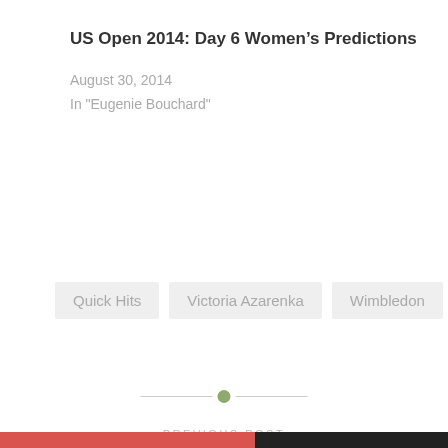US Open 2014: Day 6 Women's Predictions
August 30, 2014
In "Eugenie Bouchard"
Quick Hits
Victoria Azarenka
Wimbledon
PREVIOUS POST
Privacy & Cookies: This site uses cookies. By continuing to use this website, you agree to their use.
To find out more, including how to control cookies, see here: Cookie Policy
Close and accept